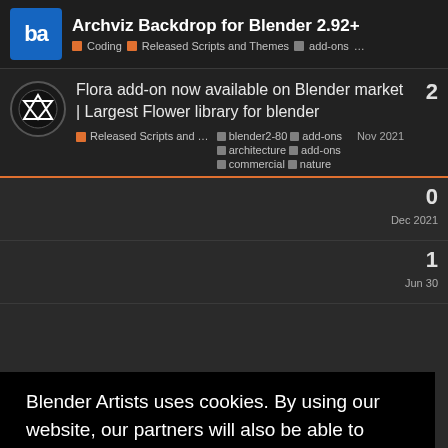Archviz Backdrop for Blender 2.92+ | Coding | Released Scripts and Themes | add-ons ...
Flora add-on now available on Blender market | Largest Flower library for blender
Released Scripts and ... blender2-80 architecture add-ons commercial nature Nov 2021  2
0  Dec 2021
1  Jun 30
Blender Artists uses cookies. By using our website, our partners will also be able to collect some of your data. Importantly, your data can be used to personalise ads. For a detailed overview, please see our privacy policy page.
Got it!